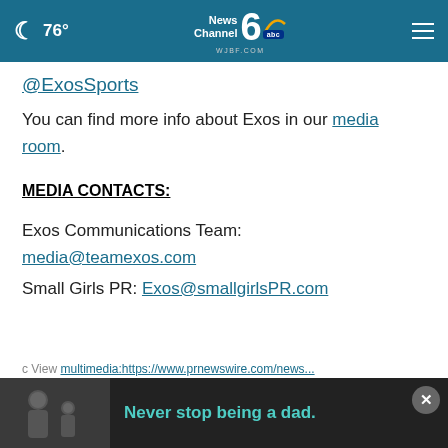76° | NewsChannel 6 WJBF.COM abc
@ExosSports
You can find more info about Exos in our media room.
MEDIA CONTACTS:
Exos Communications Team:
media@teamexos.com
Small Girls PR: Exos@smallgirlsPR.com
[Figure (photo): Advertisement banner showing a father and child with text 'Never stop being a dad.']
multimedia:https://www.prnewswire.com/news...